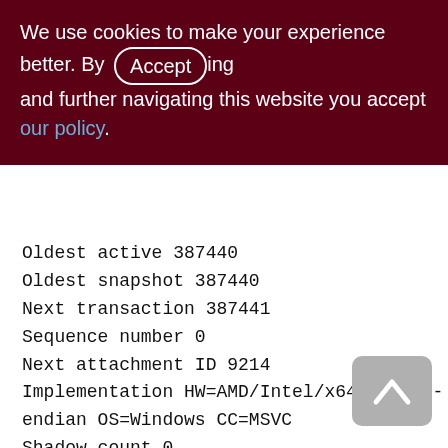We use cookies to make your experience better. By accepting and further navigating this website you accept our policy.
Oldest active 387440
Oldest snapshot 387440
Next transaction 387441
Sequence number 0
Next attachment ID 9214
Implementation HW=AMD/Intel/x64 little-endian OS=Windows CC=MSVC
Shadow count 0
Page buffers 0
Next header page 0
Database dialect 3
Creation date Jan 11, 2017 15:15:54
Attributes for site...